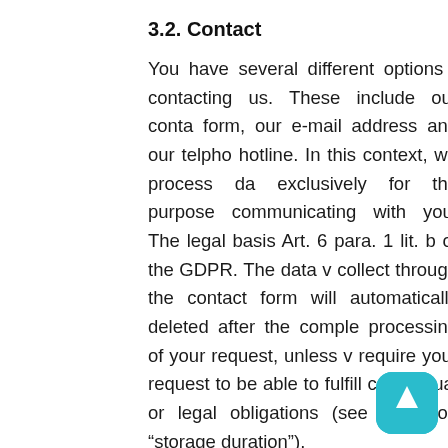3.2. Contact
You have several different options for contacting us. These include our contact form, our e-mail address and our telephone hotline. In this context, we process data exclusively for the purpose of communicating with you. The legal basis is Art. 6 para. 1 lit. b of the GDPR. The data we collect through the contact form will be automatically deleted after the completion processing of your request, unless we require your request to be able to fulfill our contractual or legal obligations (see the section “storage duration”).
3.3. Orders and Bookings
During an order process, we collect